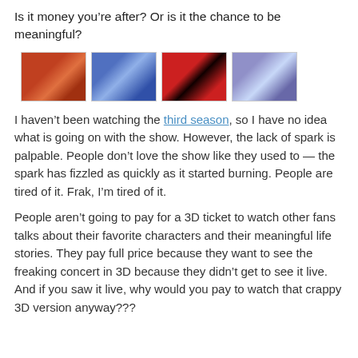Is it money you’re after? Or is it the chance to be meaningful?
[Figure (photo): Four thumbnail images side by side showing concert/TV show scenes]
I haven’t been watching the third season, so I have no idea what is going on with the show. However, the lack of spark is palpable. People don’t love the show like they used to — the spark has fizzled as quickly as it started burning. People are tired of it. Frak, I’m tired of it.
People aren’t going to pay for a 3D ticket to watch other fans talks about their favorite characters and their meaningful life stories. They pay full price because they want to see the freaking concert in 3D because they didn’t get to see it live. And if you saw it live, why would you pay to watch that crappy 3D version anyway???